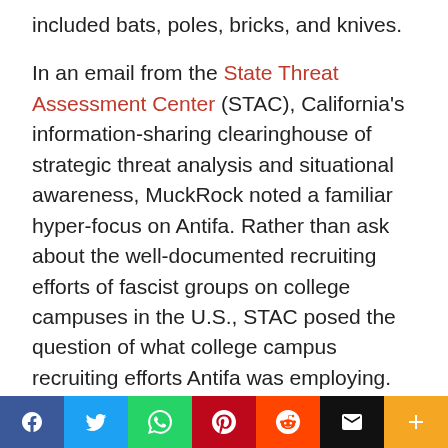included bats, poles, bricks, and knives.
In an email from the State Threat Assessment Center (STAC), California's information-sharing clearinghouse of strategic threat analysis and situational awareness, MuckRock noted a familiar hyper-focus on Antifa. Rather than ask about the well-documented recruiting efforts of fascist groups on college campuses in the U.S., STAC posed the question of what college campus recruiting efforts Antifa was employing.
White supremacy groups not wholly ignored
[Figure (infographic): Social media share bar with buttons for Facebook, Twitter, WhatsApp, Pinterest, Reddit, Email, and a plus/more button.]